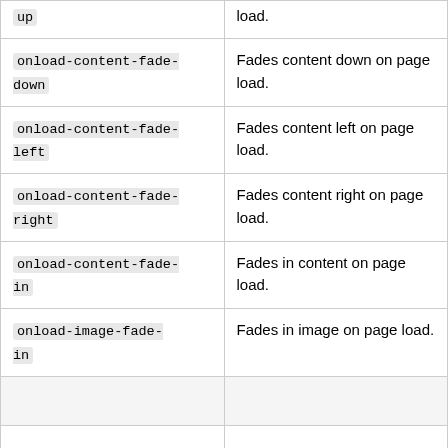| Class/Attribute | Description |
| --- | --- |
| onload-content-fade-up | Fades content up on page load. |
| onload-content-fade-down | Fades content down on page load. |
| onload-content-fade-left | Fades content left on page load. |
| onload-content-fade-right | Fades content right on page load. |
| onload-content-fade-in | Fades in content on page load. |
| onload-image-fade-in | Fades in image on page load. |
|  |  |
|  |  |